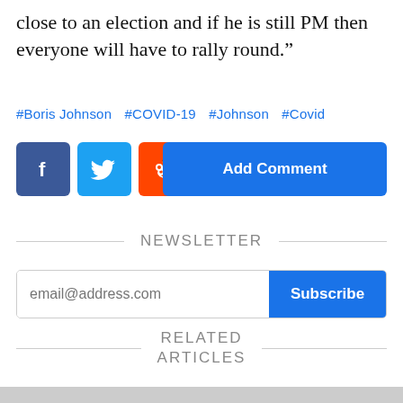close to an election and if he is still PM then everyone will have to rally round.”
#Boris Johnson  #COVID-19  #Johnson  #Covid
[Figure (infographic): Social share buttons: Facebook (blue), Twitter (light blue), Reddit (orange), Email (dark grey), and an Add Comment button (blue)]
NEWSLETTER
email@address.com Subscribe
RELATED ARTICLES